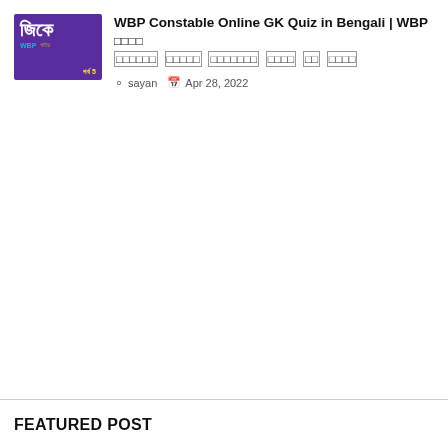[Figure (illustration): Purple thumbnail image with Bengali text 'জিকে' in white, WBP label in cyan, and part number in yellow]
WBP Constable Online GK Quiz in Bengali | WBP কনস্টেবল অনলাইন প্র্যাকটিস সেট জিকে পর্ব
sayan  Apr 28, 2022
FEATURED POST